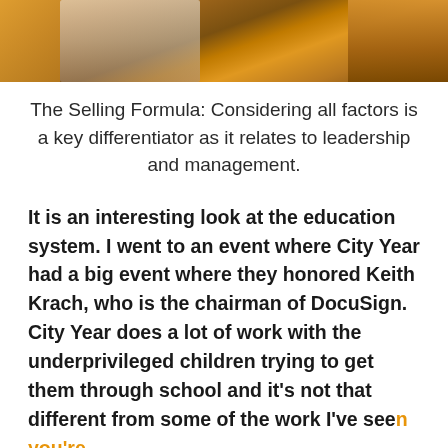[Figure (photo): Cropped photograph showing people wearing orange/yellow hard hats or jackets, partially cut off at the top of the page]
The Selling Formula: Considering all factors is a key differentiator as it relates to leadership and management.
It is an interesting look at the education system. I went to an event where City Year had a big event where they honored Keith Krach, who is the chairman of DocuSign. City Year does a lot of work with the underprivileged children trying to get them through school and it’s not that different from some of the work I’ve seen you’re up to and Gerald Chertavian, who’s the head of Year Up who was on my show. I was inspired by